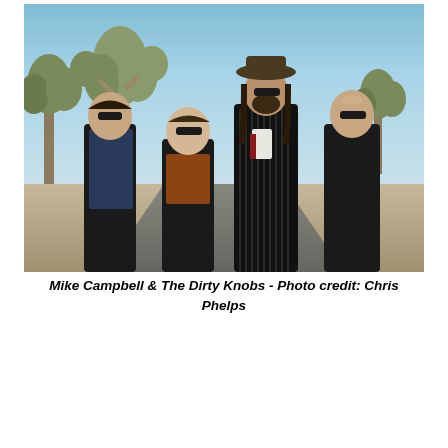[Figure (photo): Four members of Mike Campbell & The Dirty Knobs standing outdoors in front of Joshua trees in a desert landscape. The members are dressed in stylish rock musician attire including leather jackets, sunglasses, and a striped coat with a wide-brim hat.]
Mike Campbell & The Dirty Knobs - Photo credit: Chris Phelps